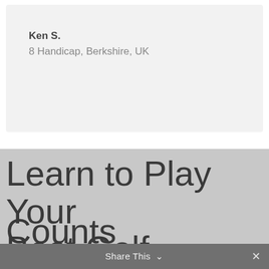Ken S.
8 Handicap, Berkshire, UK
Learn to Play Your Best Golf – When it Counts
Share This ∨  ✕